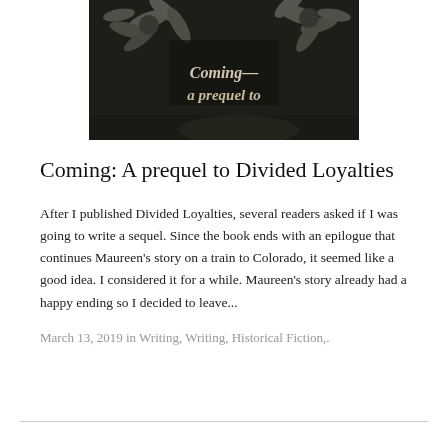[Figure (illustration): Black and white photo of flowers (daisies) with text overlay reading 'Coming— a prequel to' in a serif italic font on the dark background]
Coming: A prequel to Divided Loyalties
After I published Divided Loyalties, several readers asked if I was going to write a sequel. Since the book ends with an epilogue that continues Maureen's story on a train to Colorado, it seemed like a good idea. I considered it for a while. Maureen's story already had a happy ending so I decided to leave...
March 13, 2019 in Writing, Writing, Historical Fiction,.